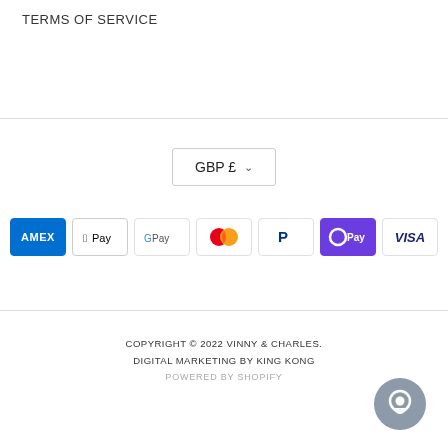TERMS OF SERVICE
[Figure (other): Currency selector dropdown showing GBP £ with chevron]
[Figure (other): Row of payment method icons: American Express, Apple Pay, Google Pay, Mastercard, PayPal, O Pay, Visa]
COPYRIGHT © 2022 VINNY & CHARLES.
DIGITAL MARKETING BY KING KONG
POWERED BY SHOPIFY